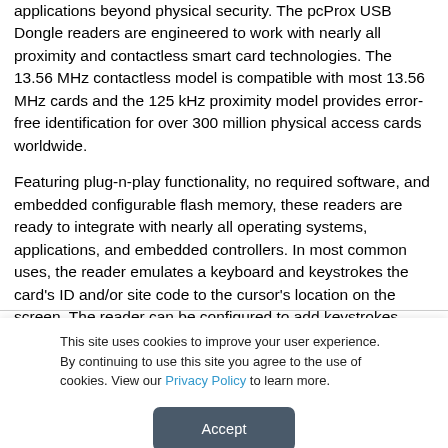applications beyond physical security. The pcProx USB Dongle readers are engineered to work with nearly all proximity and contactless smart card technologies. The 13.56 MHz contactless model is compatible with most 13.56 MHz cards and the 125 kHz proximity model provides error-free identification for over 300 million physical access cards worldwide.

Featuring plug-n-play functionality, no required software, and embedded configurable flash memory, these readers are ready to integrate with nearly all operating systems, applications, and embedded controllers. In most common uses, the reader emulates a keyboard and keystrokes the card's ID and/or site code to the cursor's location on the screen. The reader can be configured to add keystrokes before or after the card's data.
This site uses cookies to improve your user experience. By continuing to use this site you agree to the use of cookies. View our Privacy Policy to learn more.